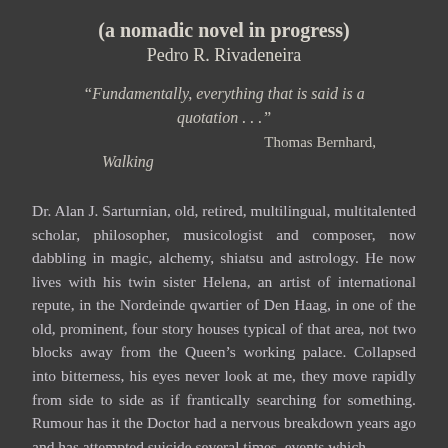(a nomadic novel in progress)
Pedro R. Rivadeneira
“Fundamentally, everything that is said is a quotation . . .”
                                 Thomas Bernhard,
    Walking
Dr. Alan J. Sarturnian, old, retired, multilingual, multitalented scholar, philosopher, musicologist and composer, now dabbling in magic, alchemy, shiatsu and astrology. He now lives with his twin sister Helena, an artist of international repute, in the Nordeinde qwartier of Den Haag, in one of the old, prominent, four story houses typical of that area, not two blocks away from the Queen’s working palace. Collapsed into bitterness, his eyes never look at me, they move rapidly from side to side as if frantically searching for something. Rumour has it the Doctor had a nervous breakdown years ago and has attempted suicide several times, events which